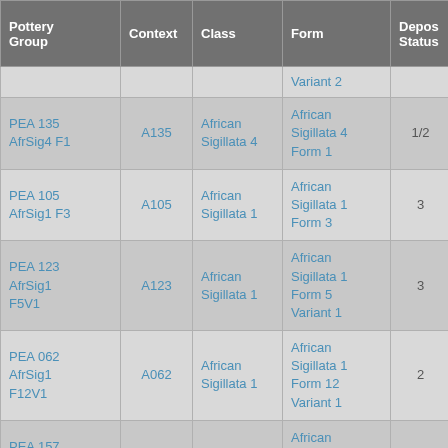| Pottery Group | Context | Class | Form | Depos Status | R Ct | R EV |
| --- | --- | --- | --- | --- | --- | --- |
|  |  |  | Variant 2 |  |  |  |
| PEA 135 AfrSig4 F1 | A135 | African Sigillata 4 | African Sigillata 4 Form 1 | 1/2 | 1 | 1 |
| PEA 105 AfrSig1 F3 | A105 | African Sigillata 1 | African Sigillata 1 Form 3 | 3 | 1 | 1 |
| PEA 123 AfrSig1 F5V1 | A123 | African Sigillata 1 | African Sigillata 1 Form 5 Variant 1 | 3 | 1 | 1 |
| PEA 062 AfrSig1 F12V1 | A062 | African Sigillata 1 | African Sigillata 1 Form 12 Variant 1 | 2 | 1 | 1 |
| PEA 157 AfrSig1 F5V1 | A157 | African Sigillata 1 | African Sigillata 1 Form 5 Variant 1 | 3 | 1 | 1 |